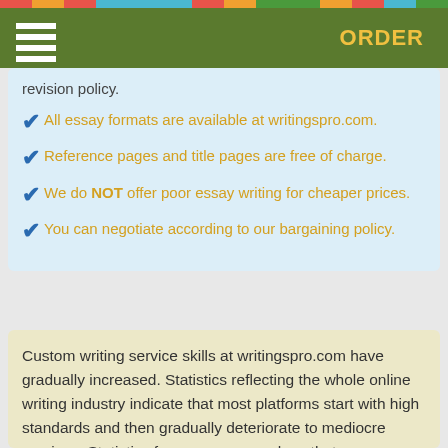ORDER
revision policy.
All essay formats are available at writingspro.com.
Reference pages and title pages are free of charge.
We do NOT offer poor essay writing for cheaper prices.
You can negotiate according to our bargaining policy.
Custom writing service skills at writingspro.com have gradually increased. Statistics reflecting the whole online writing industry indicate that most platforms start with high standards and then gradually deteriorate to mediocre services. Statistics for our company show that